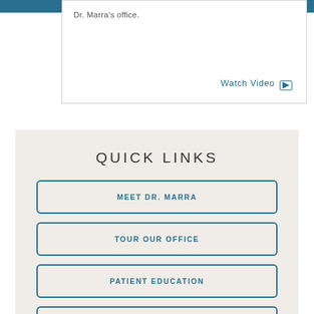Dr. Marra's office.
Watch Video ▶
QUICK LINKS
MEET DR. MARRA
TOUR OUR OFFICE
PATIENT EDUCATION
PATIENT FORMS
PATIENT & YOUR MAP